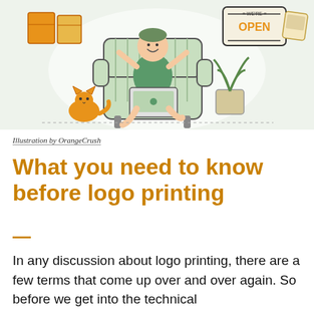[Figure (illustration): Illustration of a person sitting in a striped armchair using a laptop, with a cat beside them, a potted plant, a 'We're Open' sign, some boxes, and floating papers/stickers in a light green background.]
Illustration by OrangeCrush
What you need to know before logo printing
In any discussion about logo printing, there are a few terms that come up over and over again. So before we get into the technical